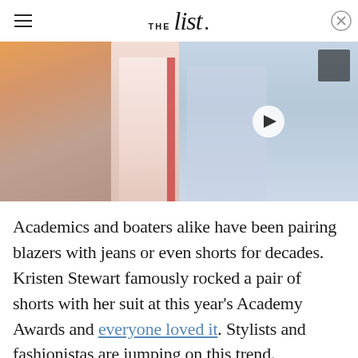THE list.
[Figure (photo): Two side-by-side images: left image shows a person in a pink blazer/suit against orange background, right image shows a woman with blonde hair holding a microphone in a light blue outfit with a video play button overlay]
Academics and boaters alike have been pairing blazers with jeans or even shorts for decades. Kristen Stewart famously rocked a pair of shorts with her suit at this year's Academy Awards and everyone loved it. Stylists and fashionistas are jumping on this trend.